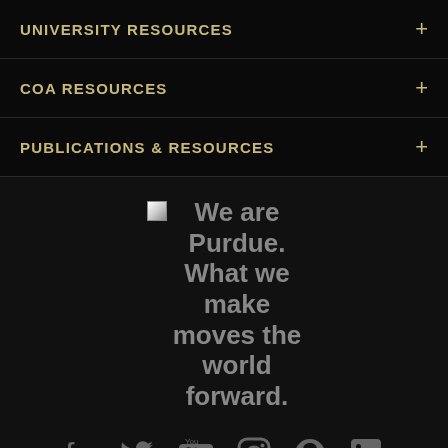UNIVERSITY RESOURCES
COA RESOURCES
PUBLICATIONS & RESOURCES
[Figure (infographic): Purdue University tagline image (broken/loading) with text: We are Purdue. What we make moves the world forward. Below are social media icons: Facebook, Twitter, YouTube, Instagram, Snapchat, LinkedIn.]